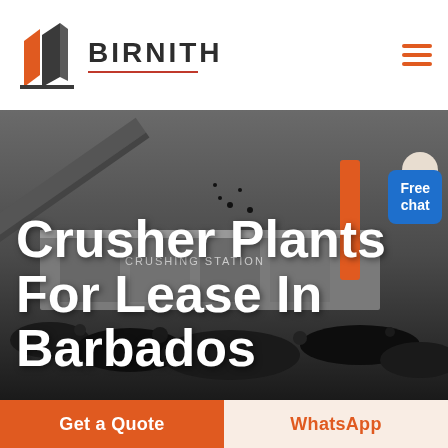[Figure (logo): Birnith company logo: orange building/construction icon with two angular structures, brand name BIRNITH in dark bold uppercase letters with red underline, hamburger menu icon in orange on the right]
[Figure (photo): Hero background photo of a crushing station industrial machine with conveyor belt and large piles of crushed dark rock/coal. Text overlay reads 'Crusher Plants For Lease In Barbados' in large white bold font. A small chat assistant bubble showing 'Free chat' appears in the top right corner.]
Crusher Plants For Lease In Barbados
Get a Quote
WhatsApp